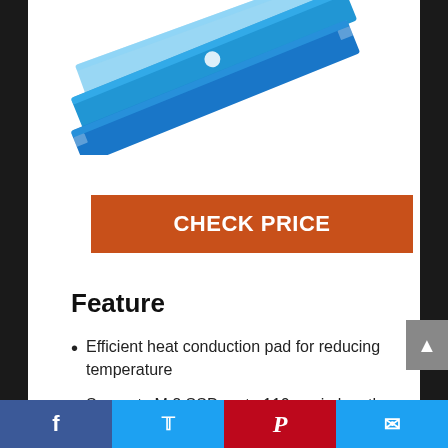[Figure (photo): Blue RAM memory sticks / heat conduction pads shown at an angle against a white background]
CHECK PRICE
Feature
Efficient heat conduction pad for reducing temperature
Supports M.2 SSD up to 110mm in length